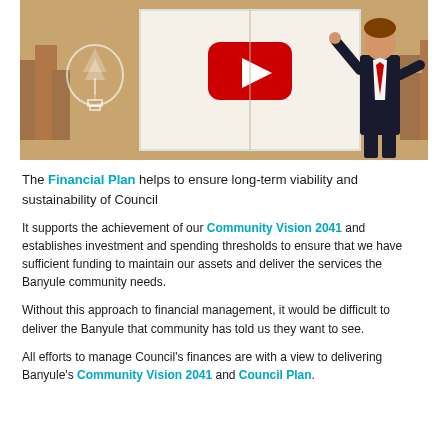[Figure (illustration): Illustration of a business presenter pointing at a board with a YouTube play button symbol, cityscape background in warm brown tones, with a light bulb graphic on the left side]
The Financial Plan helps to ensure long-term viability and sustainability of Council
It supports the achievement of our Community Vision 2041 and establishes investment and spending thresholds to ensure that we have sufficient funding to maintain our assets and deliver the services the Banyule community needs.
Without this approach to financial management, it would be difficult to deliver the Banyule that community has told us they want to see.
All efforts to manage Council's finances are with a view to delivering Banyule's Community Vision 2041 and Council Plan.